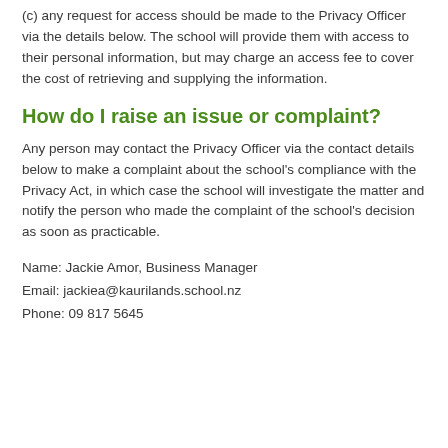(c) any request for access should be made to the Privacy Officer via the details below. The school will provide them with access to their personal information, but may charge an access fee to cover the cost of retrieving and supplying the information.
How do I raise an issue or complaint?
Any person may contact the Privacy Officer via the contact details below to make a complaint about the school's compliance with the Privacy Act, in which case the school will investigate the matter and notify the person who made the complaint of the school's decision as soon as practicable.
Name: Jackie Amor, Business Manager
Email: jackiea@kaurilands.school.nz
Phone: 09 817 5645